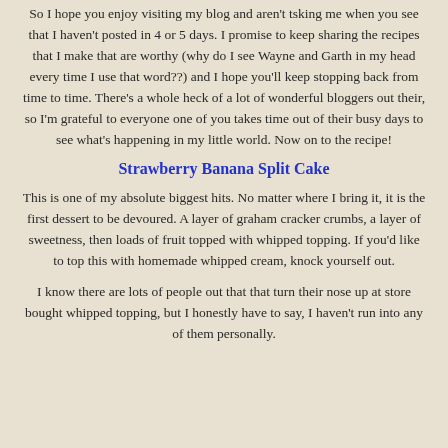So I hope you enjoy visiting my blog and aren't tsking me when you see that I haven't posted in 4 or 5 days. I promise to keep sharing the recipes that I make that are worthy (why do I see Wayne and Garth in my head every time I use that word??) and I hope you'll keep stopping back from time to time. There's a whole heck of a lot of wonderful bloggers out their, so I'm grateful to everyone one of you takes time out of their busy days to see what's happening in my little world. Now on to the recipe!
Strawberry Banana Split Cake
This is one of my absolute biggest hits. No matter where I bring it, it is the first dessert to be devoured. A layer of graham cracker crumbs, a layer of sweetness, then loads of fruit topped with whipped topping. If you'd like to top this with homemade whipped cream, knock yourself out.
I know there are lots of people out that that turn their nose up at store bought whipped topping, but I honestly have to say, I haven't run into any of them personally.